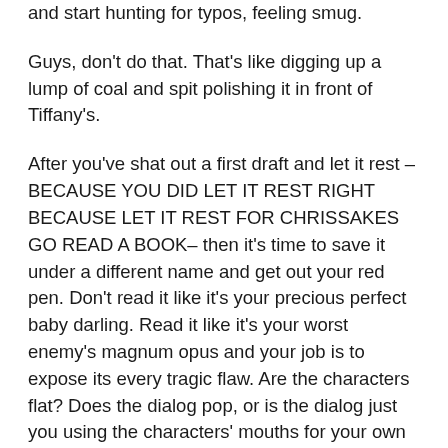and start hunting for typos, feeling smug.
Guys, don't do that. That's like digging up a lump of coal and spit polishing it in front of Tiffany's.
After you've shat out a first draft and let it rest – BECAUSE YOU DID LET IT REST RIGHT BECAUSE LET IT REST FOR CHRISSAKES GO READ A BOOK– then it's time to save it under a different name and get out your red pen. Don't read it like it's your precious perfect baby darling. Read it like it's your worst enemy's magnum opus and your job is to expose its every tragic flaw. Are the characters flat? Does the dialog pop, or is the dialog just you using the characters' mouths for your own assplaining? Is there purple prose?